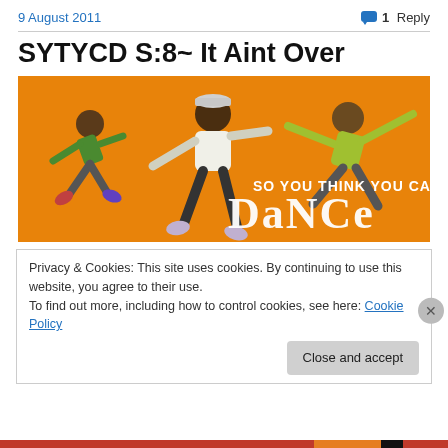9 August 2011   💬 1 Reply
SYTYCD S:8– It Aint Over
[Figure (photo): So You Think You Can Dance promotional banner image showing three dancers jumping against an orange background, with text 'SO YOU THINK YOU CAN DANCE' in large stylized letters]
Privacy & Cookies: This site uses cookies. By continuing to use this website, you agree to their use.
To find out more, including how to control cookies, see here: Cookie Policy
Close and accept